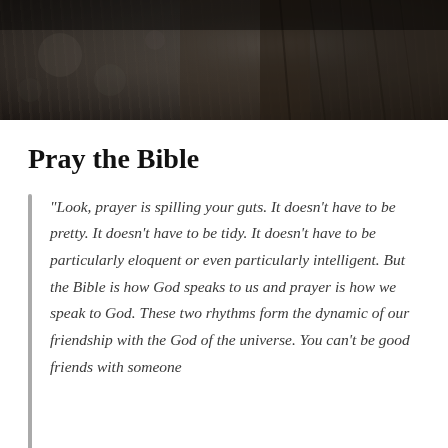[Figure (photo): Dark photograph of hands clasped or wooden texture, dark moody background, close-up of rough dark wood or clasped hands against blurred dark background]
Pray the Bible
“Look, prayer is spilling your guts. It doesn’t have to be pretty. It doesn’t have to be tidy. It doesn’t have to be particularly eloquent or even particularly intelligent. But the Bible is how God speaks to us and prayer is how we speak to God. These two rhythms form the dynamic of our friendship with the God of the universe. You can’t be good friends with someone